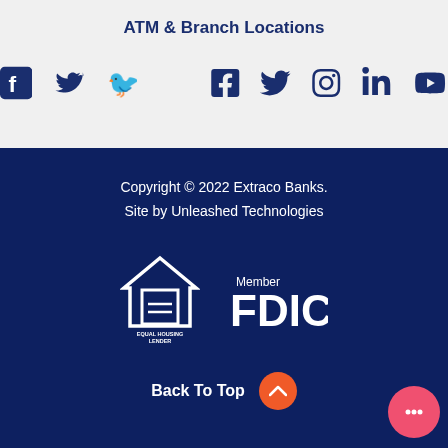ATM & Branch Locations
[Figure (infographic): Social media icons: Facebook, Twitter, Instagram, LinkedIn, YouTube in dark navy blue]
Copyright © 2022 Extraco Banks.
Site by Unleashed Technologies
[Figure (logo): Equal Housing Lender logo and Member FDIC logo in white on dark navy background]
Back To Top